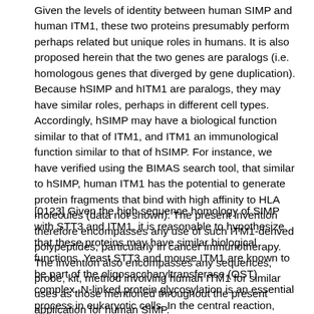Given the levels of identity between human SIMP and human ITM1, these two proteins presumably perform perhaps related but unique roles in humans. It is also proposed herein that the two genes are paralogs (i.e. homologous genes that diverged by gene duplication). Because hSIMP and hITM1 are paralogs, they may have similar roles, perhaps in different cell types. Accordingly, hSIMP may have a biological function similar to that of ITM1, and ITM1 an immunological function similar to that of hSIMP. For instance, we have verified using the BIMAS search tool, that similar to hSIMP, human ITM1 has the potential to generate protein fragments that bind with high affinity to HLA molecules (data not shown). The present invention therefore encompasses any use of such ITM1-derived polypeptides, particularly in cancer immunotherapy. The invention also encompasses any sequences, probe, kit, method involving human ITM1 for similar uses as those mentioned throughout the present application for human SIMP.
[0123] Given the high sequence homology of SIMP with STT3 and ITM1, it is reasonable to hypothesize that these proteins may have similar biological functions. Yeast STT3 and mouse ITM1 are known to be part of the oligosaccharyltransferase (OST) complex. N-linked protein glycosylation is an essential process in eukaryotic cells. In the central reaction, OST catalyzes the transfer of the oligosaccharide Glc3MangGlcNac2 from dolicholpyrophosphate onto asparagine residues of nascent polypeptide